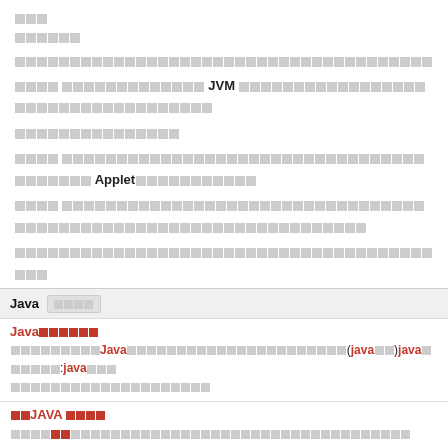□□□
□□□□□□
□□□□□□□□□□□□□□□□□□□□□□□□□□□□□□□□□□□□□□□□□□□□□□□□□□□□□□□□
□□□□ □□□□□□□□□□□□□ JVM □□□□□□□□□□□□□□□□□□□□□□□□□□□□□□□□□□□□□□□□□□□□□□□□□□□□□□□□
□□□□□□□□□□□□□□□
□□□□ □□□□□□□□□□□□□□□□□□□□□□□□□□□□□□□□□□□□□□□□□□□□□□ Applet□□□□□□□□□□□
□□□□ □□□□□□□□□□□□□□□□□□□□□□□□□□□□□□□□□□□□□□□□□□□□□□□□□□□□□□□□□□□□□□□□□□□□□□□□
□□□□□□□□□□□□□□□□□□□□□□□□□□□□□□□□□□□□□□□□
Java □□□□
Java□□□□□□
□□□□□□□□□Java□□□□□□□□□□□□□□□□□□□□□□□□□□□□□□□□□(java□□)java□□□□□□:java□□□□□□□□□□□□□□□□□□□□□□□□□
□□JAVA □□□□
□□□□□□□□□□□□□□□□□□□□□□□□□□□□□□□□□□□□□□□□□□□□□□□□□□□□□□□□□□□□□□□□□□□